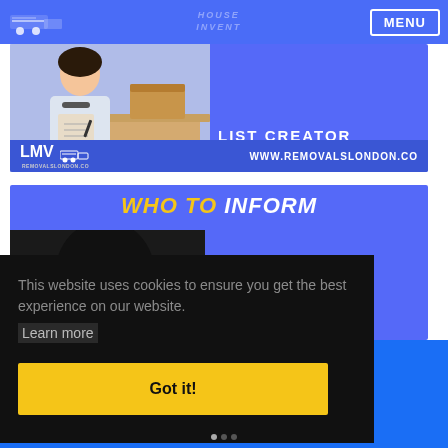MENU
[Figure (screenshot): Banner ad for LMV Removals London showing a person with a clipboard and boxes. Text reads 'LIST CREATOR' and 'WWW.REMOVALSLONDON.CO']
[Figure (screenshot): Banner ad for LMV Removals London. Title: 'WHO TO INFORM'. Subtitle: 'IMPORTANT ADDRESSES TO CHANGE'. Shows person writing at a desk.]
This website uses cookies to ensure you get the best experience on our website.
Learn more
Got it!